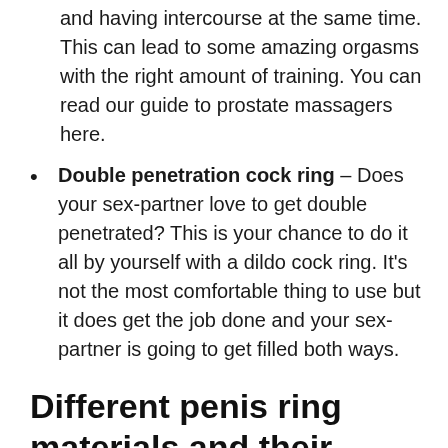and having intercourse at the same time. This can lead to some amazing orgasms with the right amount of training. You can read our guide to prostate massagers here.
Double penetration cock ring – Does your sex-partner love to get double penetrated? This is your chance to do it all by yourself with a dildo cock ring. It's not the most comfortable thing to use but it does get the job done and your sex-partner is going to get filled both ways.
Different penis ring materials and their advantages
There are quite a few different materials that are used in penis rings and they all have their strength